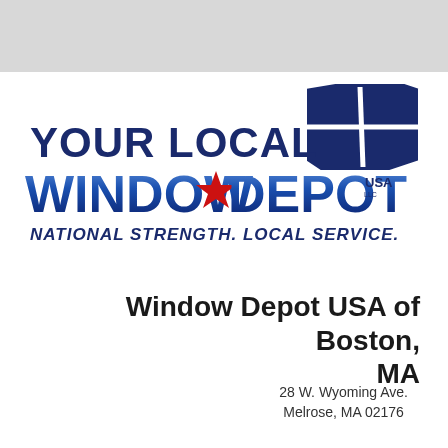[Figure (logo): Window Depot USA logo with 'YOUR LOCAL WINDOW DEPOT USA' text, a window icon, red star, and tagline 'NATIONAL STRENGTH. LOCAL SERVICE.' in blue and navy colors]
Window Depot USA of Boston, MA
28 W. Wyoming Ave.
Melrose, MA 02176